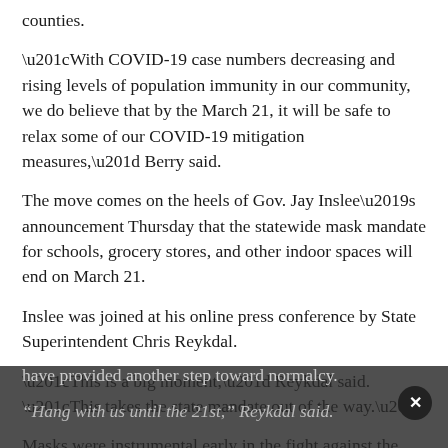counties.
“With COVID-19 case numbers decreasing and rising levels of population immunity in our community, we do believe that by the March 21, it will be safe to relax some of our COVID-19 mitigation measures,” Berry said.
The move comes on the heels of Gov. Jay Inslee’s announcement Thursday that the statewide mask mandate for schools, grocery stores, and other indoor spaces will end on March 21.
Inslee was joined at his online press conference by State Superintendent Chris Reykdal.
“This is a big moment,” Reykdal said. “This takes the state mandate out of the way.”
Masks were instrumental early in the fight against the spread of COVID-19, he added, and vaccines and rapid testing have provided another step toward normalcy.
“Hang with us until the 21st,” Reykdal said.
Inslee noted the controversy over the indoor mask order...